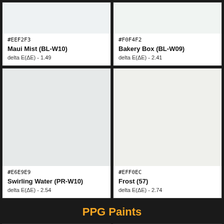[Figure (other): Color swatch for #EEF2F3 Maui Mist (BL-W10), light blue-grey paint color]
[Figure (other): Color swatch for #F0F4F2 Bakery Box (BL-W09), very light grey-white paint color]
[Figure (other): Color swatch for #E6E9E9 Swirling Water (PR-W10), light grey paint color]
[Figure (other): Color swatch for #EFF0EC Frost (57), warm white paint color]
PPG Paints
[Figure (other): Partial color swatch bottom left, PPG Paints section]
[Figure (other): Partial color swatch bottom right with CLOSE button, PPG Paints section]